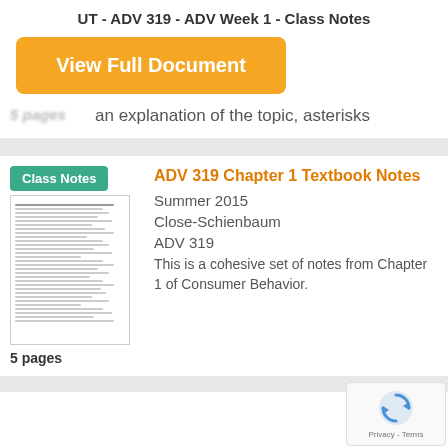UT - ADV 319 - ADV Week 1 - Class Notes
[Figure (other): Orange button labeled 'View Full Document']
5 pages
an explanation of the topic, asterisks
[Figure (other): Class Notes badge label (teal/green)]
[Figure (other): Thumbnail image of a document page with lines of text]
5 pages
ADV 319 Chapter 1 Textbook Notes
Summer 2015
Close-Schienbaum
ADV 319
This is a cohesive set of notes from Chapter 1 of Consumer Behavior.
[Figure (other): reCAPTCHA widget with spinning arrows icon]